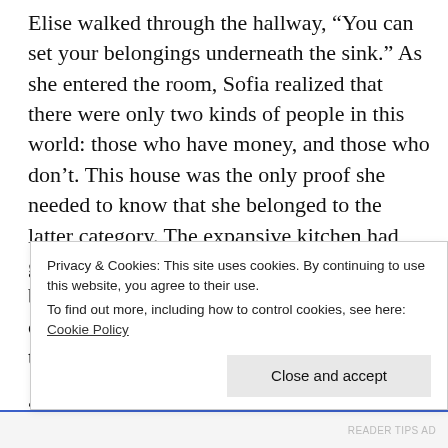Elise walked through the hallway, “You can set your belongings underneath the sink.” As she entered the room, Sofia realized that there were only two kinds of people in this world: those who have money, and those who don’t. This house was the only proof she needed to know that she belonged to the latter category. The expansive kitchen had granite countertops with maroon drawers, a black stove in the corner opposite of the chrome refrigerator and the rectangular glass table had a solitary plate sitting upon it.
“Are there any specific tasks that you need me to do? I’ll be here until 5:00 PM” Sofia asked. Elise lifted the…
Privacy & Cookies: This site uses cookies. By continuing to use this website, you agree to their use.
To find out more, including how to control cookies, see here: Cookie Policy